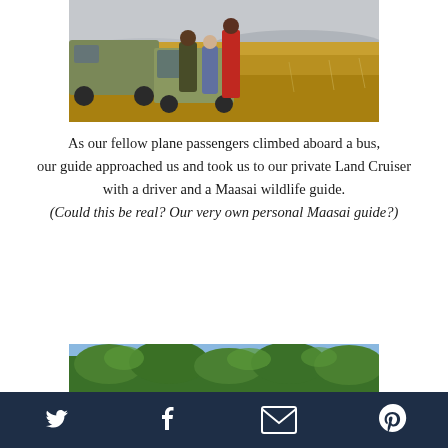[Figure (photo): Safari scene: people standing next to a Land Cruiser vehicle in an open savanna grassland with golden grass and distant hills]
As our fellow plane passengers climbed aboard a bus,
our guide approached us and took us to our private Land Cruiser
with a driver and a Maasai wildlife guide.
(Could this be real?  Our very own personal Maasai guide?)
[Figure (photo): Green tree canopy scene, partial view of trees with blue sky visible]
Twitter | Facebook | Email | Pinterest social sharing icons